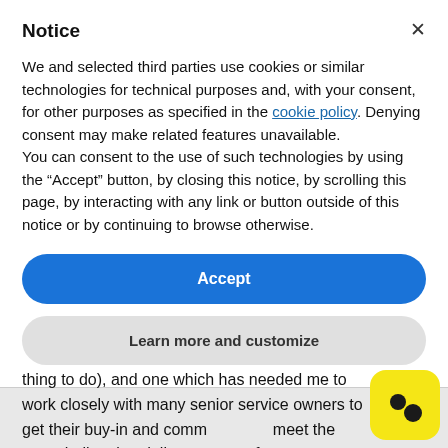Notice
We and selected third parties use cookies or similar technologies for technical purposes and, with your consent, for other purposes as specified in the cookie policy. Denying consent may make related features unavailable.
You can consent to the use of such technologies by using the “Accept” button, by closing this notice, by scrolling this page, by interacting with any link or button outside of this notice or by continuing to browse otherwise.
Accept
Learn more and customize
thing to do), and one which has needed me to work closely with many senior service owners to get their buy-in and commitment to meet the very challenging delivery targets for new services through www.nidirect.gov.uk.
[Figure (logo): Yellow rounded square icon with two dark circular dots, resembling a face or logo]